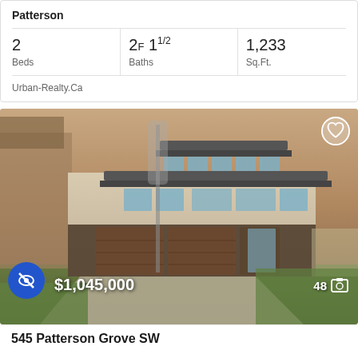Patterson
| Beds | Baths | Sq.Ft. |
| --- | --- | --- |
| 2 | 2F 11/2 | 1,233 |
Urban-Realty.Ca
[Figure (photo): Exterior photo of a modern two-storey house with dark wood garage doors, large windows, and a concrete driveway, surrounded by trees and lawn at dusk]
$1,045,000
48 photos
545 Patterson Grove SW